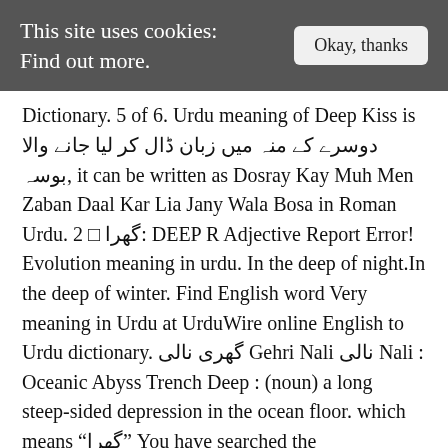This site uses cookies: Find out more.   Okay, thanks
Dictionary. 5 of 6. Urdu meaning of Deep Kiss is دوسرے کے منہ میں زبان ڈال کر لیا جانے والا بوسہ, it can be written as Dosray Kay Muh Men Zaban Daal Kar Lia Jany Wala Bosa in Roman Urdu. 2 □ گھrا: DEEP R Adjective Report Error! Evolution meaning in urdu. In the deep of night.In the deep of winter. Find English word Very meaning in Urdu at UrduWire online English to Urdu dictionary. گھری نالی Gehri Nali نالی Nali : Oceanic Abyss Trench Deep : (noun) a long steep-sided depression in the ocean floor. which means “گھrا” You have searched the